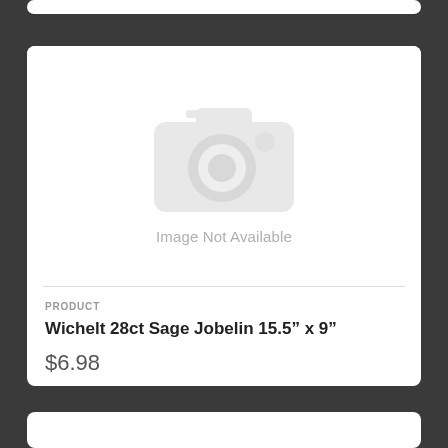[Figure (other): Image Not Available placeholder with camera icon graphic in light gray on white background]
PRODUCT
Wichelt 28ct Sage Jobelin 15.5" x 9"
$6.98